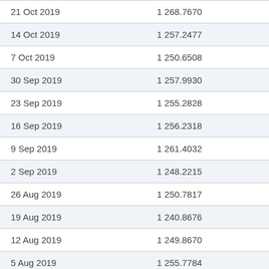| Date | Value |
| --- | --- |
| 21 Oct 2019 | 1 268.7670 |
| 14 Oct 2019 | 1 257.2477 |
| 7 Oct 2019 | 1 250.6508 |
| 30 Sep 2019 | 1 257.9930 |
| 23 Sep 2019 | 1 255.2828 |
| 16 Sep 2019 | 1 256.2318 |
| 9 Sep 2019 | 1 261.4032 |
| 2 Sep 2019 | 1 248.2215 |
| 26 Aug 2019 | 1 250.7817 |
| 19 Aug 2019 | 1 240.8676 |
| 12 Aug 2019 | 1 249.8670 |
| 5 Aug 2019 | 1 255.7784 |
| 29 Jul 2019 | 1 260.3835 |